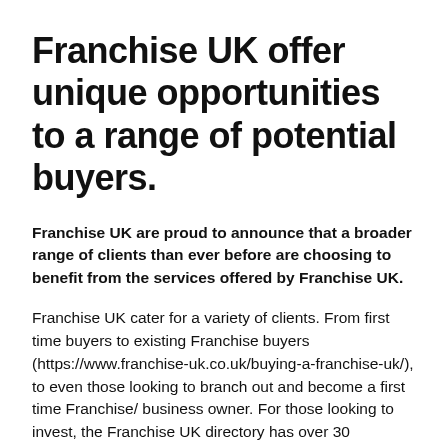Franchise UK offer unique opportunities to a range of potential buyers.
Franchise UK are proud to announce that a broader range of clients than ever before are choosing to benefit from the services offered by Franchise UK.
Franchise UK cater for a variety of clients. From first time buyers to existing Franchise buyers (https://www.franchise-uk.co.uk/buying-a-franchise-uk/), to even those looking to branch out and become a first time Franchise/ business owner. For those looking to invest, the Franchise UK directory has over 30 categories available to choose from and has proven to be an excellent resource for potential